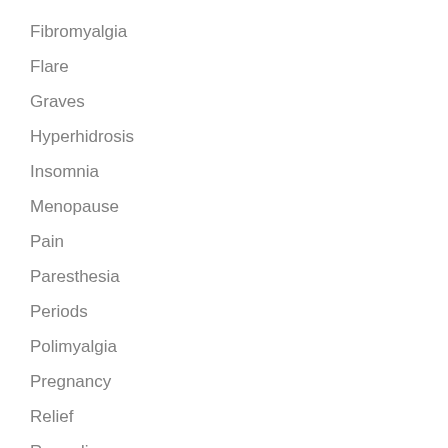Fibromyalgia
Flare
Graves
Hyperhidrosis
Insomnia
Menopause
Pain
Paresthesia
Periods
Polimyalgia
Pregnancy
Relief
Remedies
Symptoms